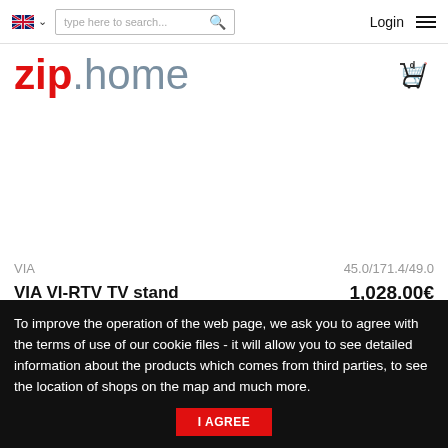[Figure (screenshot): UK flag icon in navigation bar]
[Figure (screenshot): Search input box with placeholder text 'type here to search...' and search icon]
Login
[Figure (logo): zip.home logo - zip in red bold, .home in grey]
[Figure (screenshot): Shopping cart icon with 0 badge]
VIA
45.0/171.4/49.0
VIA VI-RTV TV stand
1,028.00€
To improve the operation of the web page, we ask you to agree with the terms of use of our cookie files - it will allow you to see detailed information about the products which comes from third parties, to see the location of shops on the map and much more.
I AGREE